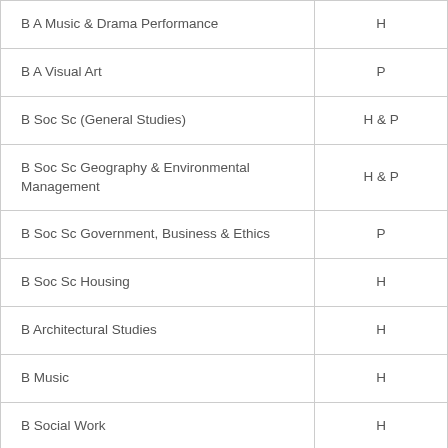| B A Music & Drama Performance | H |
| B A Visual Art | P |
| B Soc Sc (General Studies) | H & P |
| B Soc Sc Geography & Environmental Management | H & P |
| B Soc Sc Government, Business & Ethics | P |
| B Soc Sc Housing | H |
| B Architectural Studies | H |
| B Music | H |
| B Social Work | H |